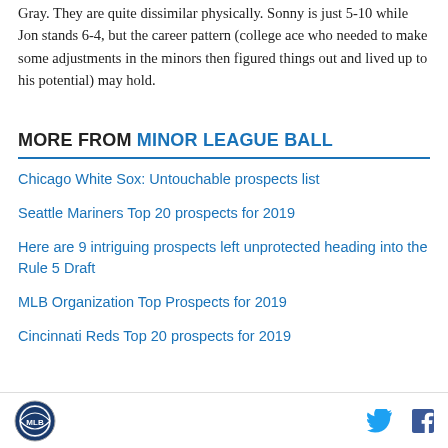Gray. They are quite dissimilar physically. Sonny is just 5-10 while Jon stands 6-4, but the career pattern (college ace who needed to make some adjustments in the minors then figured things out and lived up to his potential) may hold.
MORE FROM MINOR LEAGUE BALL
Chicago White Sox: Untouchable prospects list
Seattle Mariners Top 20 prospects for 2019
Here are 9 intriguing prospects left unprotected heading into the Rule 5 Draft
MLB Organization Top Prospects for 2019
Cincinnati Reds Top 20 prospects for 2019
Minor League Ball logo, Twitter and Facebook icons